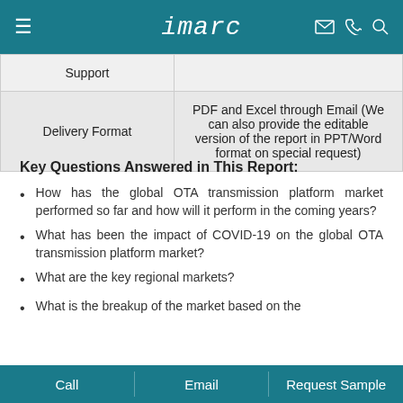imarc
| Support |  |
| Delivery Format | PDF and Excel through Email (We can also provide the editable version of the report in PPT/Word format on special request) |
Key Questions Answered in This Report:
How has the global OTA transmission platform market performed so far and how will it perform in the coming years?
What has been the impact of COVID-19 on the global OTA transmission platform market?
What are the key regional markets?
What is the breakup of the market based on the
Call   Email   Request Sample